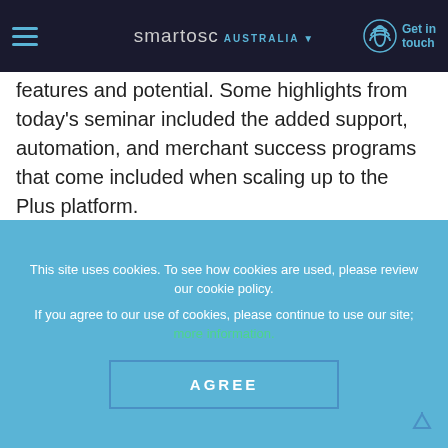smartosc AUSTRALIA ▾  Get in touch
features and potential. Some highlights from today's seminar included the added support, automation, and merchant success programs that come included when scaling up to the Plus platform.
“Shopify makes starting and building a business easy.”
With multi-nationally recognized brands like Sennhaiser, Red Bull and Budweiser already
This site uses cookies. To see how cookies are used, please review our cookie policy.

If you agree to our use of cookies, please continue to use our site; more information.
AGREE